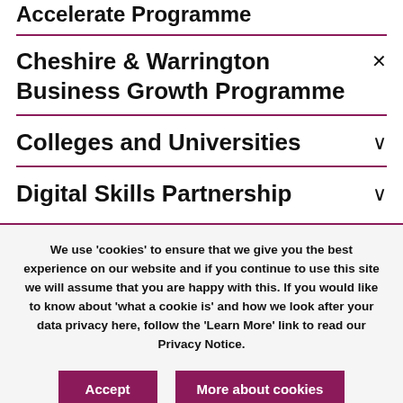Accelerate Programme
Cheshire & Warrington Business Growth Programme
Colleges and Universities
Digital Skills Partnership
We use 'cookies' to ensure that we give you the best experience on our website and if you continue to use this site we will assume that you are happy with this. If you would like to know about 'what a cookie is' and how we look after your data privacy here, follow the 'Learn More' link to read our Privacy Notice.
Accept
More about cookies